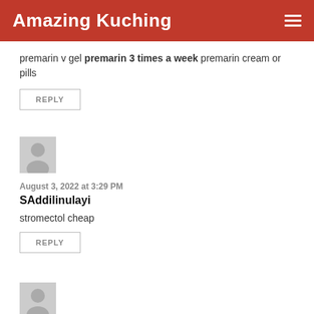Amazing Kuching
premarin v gel premarin 3 times a week premarin cream or pills
REPLY
August 3, 2022 at 3:29 PM
SAddilinulayi
stromectol cheap
REPLY
August 6, 2022 at 8:08 PM